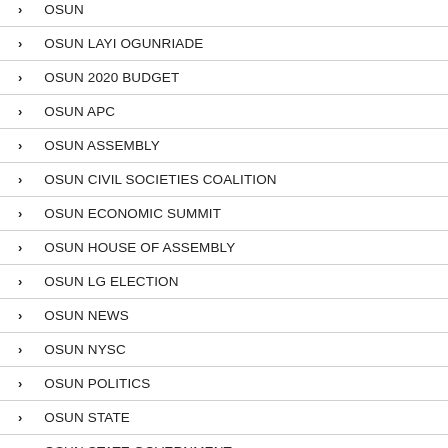OSUN
OSUN LAYI OGUNRIADE
OSUN 2020 BUDGET
OSUN APC
OSUN ASSEMBLY
OSUN CIVIL SOCIETIES COALITION
OSUN ECONOMIC SUMMIT
OSUN HOUSE OF ASSEMBLY
OSUN LG ELECTION
OSUN NEWS
OSUN NYSC
OSUN POLITICS
OSUN STATE
OSUN STATE GOVERNMENT